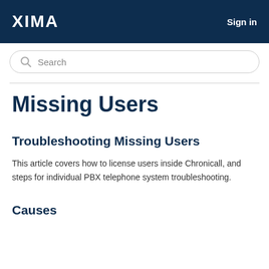XIMA Sign in
[Figure (other): Search bar with magnifying glass icon and placeholder text 'Search']
Missing Users
Troubleshooting Missing Users
This article covers how to license users inside Chronicall, and steps for individual PBX telephone system troubleshooting.
Causes